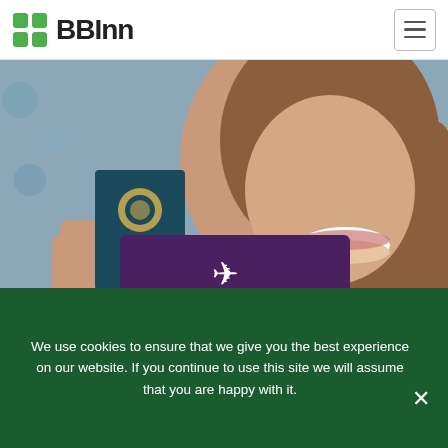[Figure (logo): BBInn logo with green grid icon and bold BBInn text]
[Figure (photo): Woman smiling holding a United States passport, with a purple overlay card showing an airplane icon and the text TOURIST CARD]
We use cookies to ensure that we give you the best experience on our website. If you continue to use this site we will assume that you are happy with it.